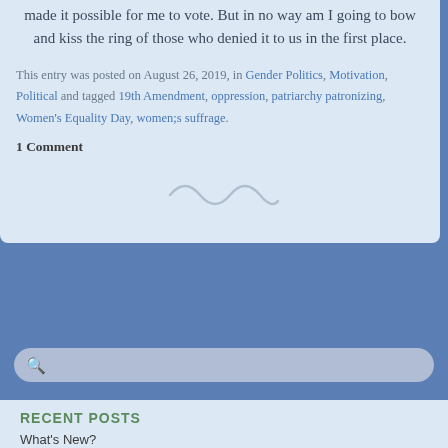made it possible for me to vote. But in no way am I going to bow and kiss the ring of those who denied it to us in the first place.
This entry was posted on August 26, 2019, in Gender Politics, Motivation, Political and tagged 19th Amendment, oppression, patriarchy patronizing, Women's Equality Day, women;s suffrage.
1 Comment
[Figure (illustration): Decorative squiggle/tilde separator]
RECENT POSTS
What's New?